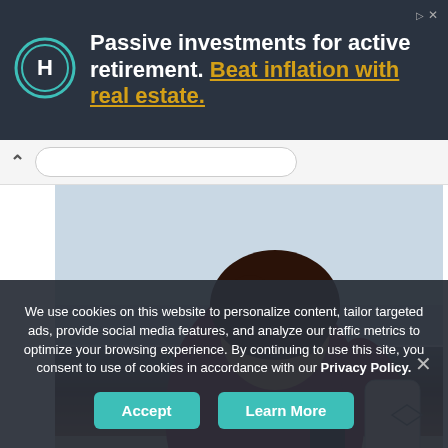[Figure (infographic): Advertisement banner with dark navy background. Circular logo with 'H' letter on left. Text: 'Passive investments for active retirement. Beat inflation with real estate.' Ad label and close X in top right corner.]
[Figure (photo): Photo of a smiling woman with curly hair at a beach, wearing a dark maroon top, holding a bottle or container. Background shows ocean/beach scene.]
We use cookies on this website to personalize content, tailor targeted ads, provide social media features, and analyze our traffic metrics to optimize your browsing experience. By continuing to use this site, you consent to use of cookies in accordance with our Privacy Policy.